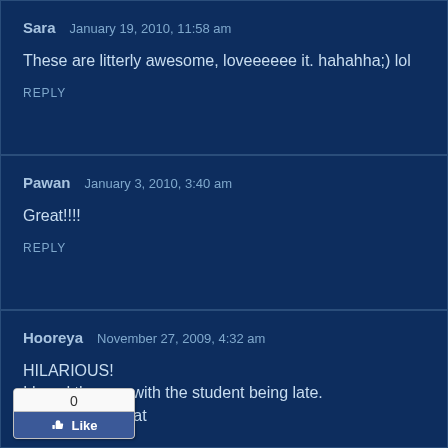Sara   January 19, 2010, 11:58 am

These are litterly awesome, loveeeeee it. hahahha;) lol

REPLY
Pawan   January 3, 2010, 3:40 am

Great!!!!

REPLY
Hooreya   November 27, 2009, 4:32 am

HILARIOUS!
I loved the one with the student being late.
...t think im like that